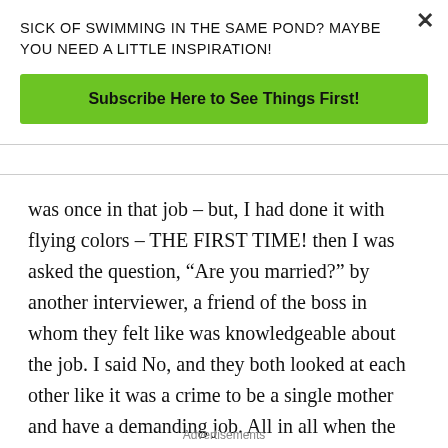SICK OF SWIMMING IN THE SAME POND? MAYBE YOU NEED A LITTLE INSPIRATION!
Subscribe Here to See Things First!
was once in that job – but, I had done it with flying colors – THE FIRST TIME! then I was asked the question, “Are you married?” by another interviewer, a friend of the boss in whom they felt like was knowledgeable about the job. I said No, and they both looked at each other like it was a crime to be a single mother and have a demanding job. All in all when the interview was over, they said decisions would be made tomorrow and that was it.
Advertisements